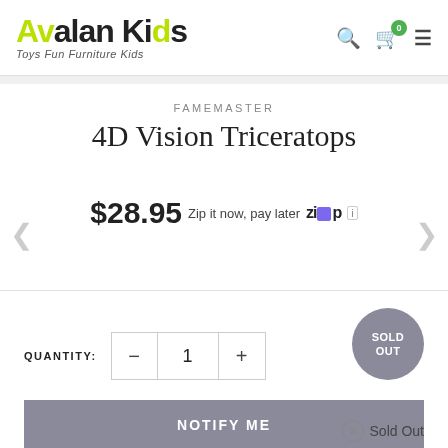Avalan Kids — Toys Fun Furniture Kids
FAMEMASTER
4D Vision Triceratops
$28.95 Zip it now, pay later ZIP ℹ
QUANTITY: 1
SOLD OUT
NOTIFY ME
Sold Out